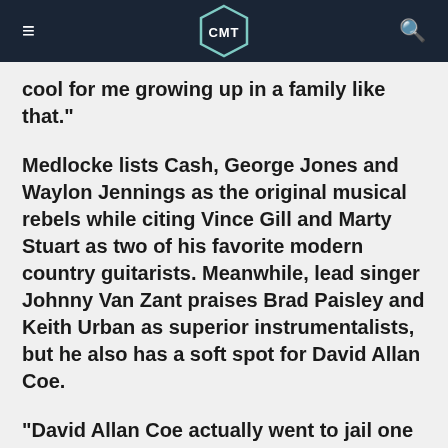CMT
cool for me growing up in a family like that."
Medlocke lists Cash, George Jones and Waylon Jennings as the original musical rebels while citing Vince Gill and Marty Stuart as two of his favorite modern country guitarists. Meanwhile, lead singer Johnny Van Zant praises Brad Paisley and Keith Urban as superior instrumentalists, but he also has a soft spot for David Allan Coe.
"David Allan Coe actually went to jail one time," Van Zant says. "Some fan cursed Lynyrd Skynyrd, and David Allan Coe kicked his teeth in. He ran and kicked a guy's teeth in for saying something about Lynyrd Skynyrd. He actually pulled me on his bus one night to tell me this. And I go, 'Thanks, man!' Believe me, he'd